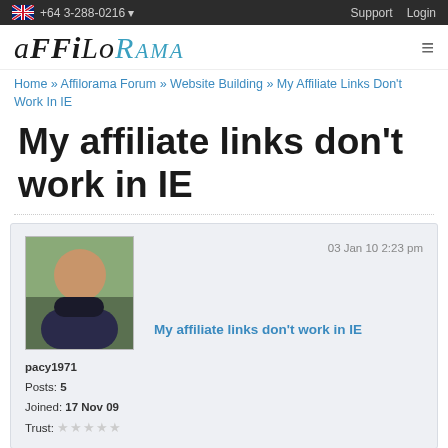+64 3-288-0216 | Support | Login
[Figure (logo): Affilorama logo in italic serif font with teal colored RAMA portion]
Home » Affilorama Forum » Website Building » My Affiliate Links Don't Work In IE
My affiliate links don't work in IE
pacy1971
Posts: 5
Joined: 17 Nov 09
Trust: ☆☆☆☆☆
03 Jan 10 2:23 pm
My affiliate links don't work in IE